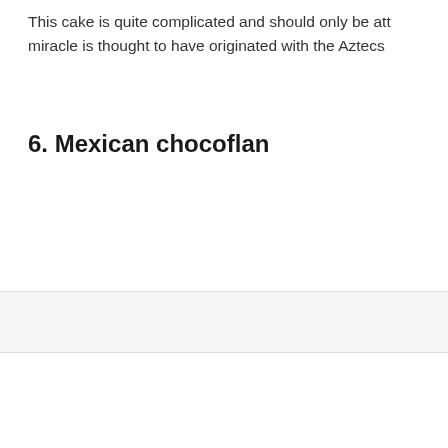This cake is quite complicated and should only be att miracle is thought to have originated with the Aztecs
6. Mexican chocoflan